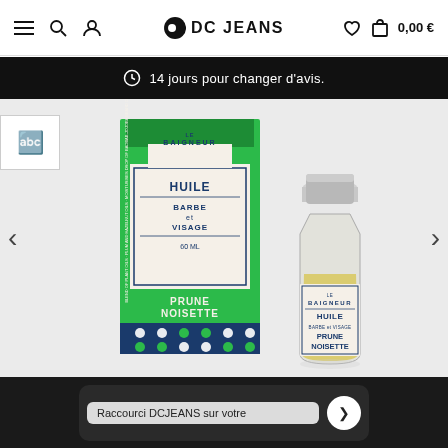DC JEANS — navigation header with hamburger menu, search, user, wishlist, cart (0,00 €)
14 jours pour changer d'avis.
[Figure (photo): Product photo of Le Baigneur Huile Barbe et Visage Prune Noisette — green product box on left, glass bottle with yellow oil on right, on white background.]
Raccourci DCJEANS sur votre